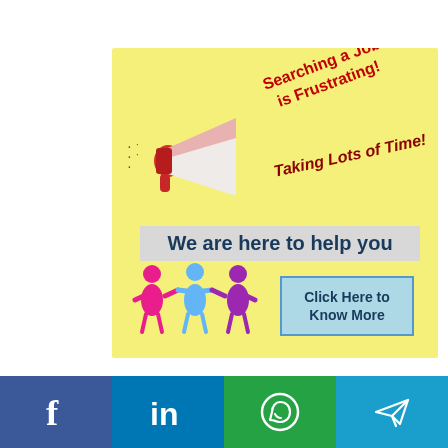[Figure (infographic): Yellow banner with megaphone, rotated red text 'Searching a Job is Frustrating!', dark red italic text 'Taking Lots of Time!', grey banner 'We are here to help you', three people holding hands icons, blue 'Click Here to Know More' button]
[Figure (infographic): Social media bar with Facebook, LinkedIn, WhatsApp, and Telegram icons]